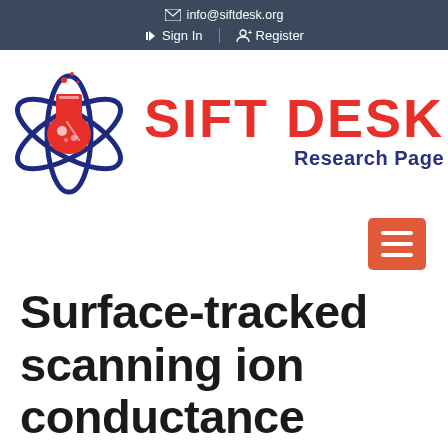info@siftdesk.org | Sign In | Register
[Figure (logo): SIFT DESK Research Page logo with a red flask and blue atomic orbit rings on the left, and the text SIFT DESK in red bold letters with Research Page in dark blue below it on the right]
Surface-tracked scanning ion conductance microscopy: A